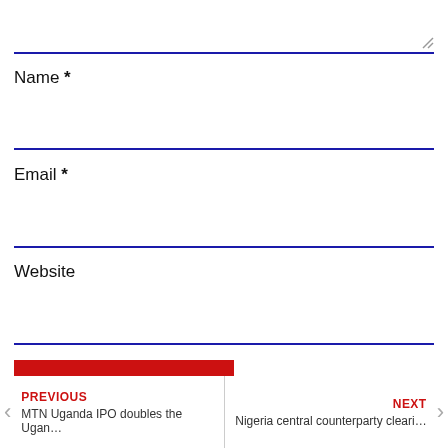Name *
Email *
Website
Post Comment
PREVIOUS
MTN Uganda IPO doubles the Ugan…
NEXT
Nigeria central counterparty cleari…